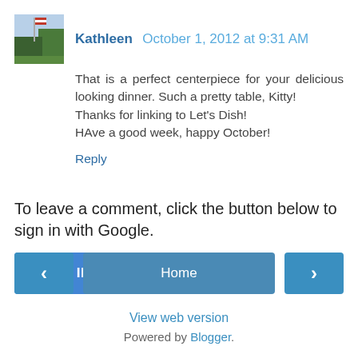[Figure (photo): Small avatar photo of trees and a flag, used as commenter profile picture]
Kathleen October 1, 2012 at 9:31 AM
That is a perfect centerpiece for your delicious looking dinner. Such a pretty table, Kitty!
Thanks for linking to Let's Dish!
HAve a good week, happy October!
Reply
To leave a comment, click the button below to sign in with Google.
SIGN IN WITH GOOGLE
‹
Home
›
View web version
Powered by Blogger.